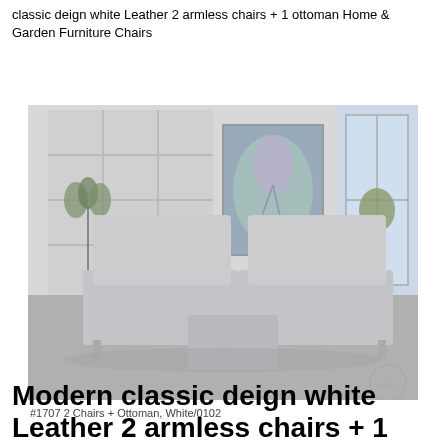classic deign white Leather 2 armless chairs + 1 ottoman Home & Garden Furniture Chairs
[Figure (photo): Product photo of two white modern armless chairs and an ottoman in a stylish room setting with wall panels, artwork, and a window. Caption reads: #1707 2 Chairs + Ottoman, White/0102]
#1707 2 Chairs + Ottoman, White/0102
Modern classic deign white Leather 2 armless chairs + 1